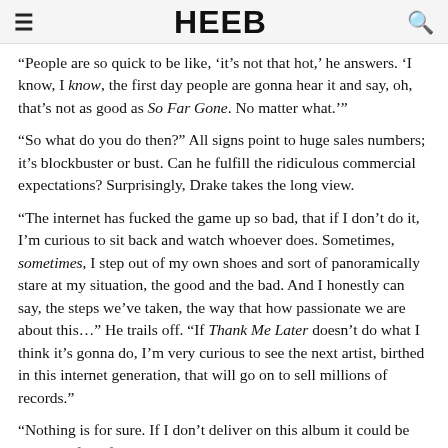HEEB
“People are so quick to be like, ‘it’s not that hot,’ he answers. ‘I know, I know, the first day people are gonna hear it and say, oh, that’s not as good as So Far Gone. No matter what.’”
“So what do you do then?” All signs point to huge sales numbers; it’s blockbuster or bust. Can he fulfill the ridiculous commercial expectations? Surprisingly, Drake takes the long view.
“The internet has fucked the game up so bad, that if I don’t do it, I’m curious to sit back and watch whoever does. Sometimes, sometimes, I step out of my own shoes and sort of panoramically stare at my situation, the good and the bad. And I honestly can say, the steps we’ve taken, the way that how passionate we are about this…” He trails off. “If Thank Me Later doesn’t do what I think it’s gonna do, I’m very curious to see the next artist, birthed in this internet generation, that will go on to sell millions of records.”
“Nothing is for sure. If I don’t deliver on this album it could be the downfall of my entire career.” Honestly, though — even with the pressures of impending world-wide fame and massive amounts